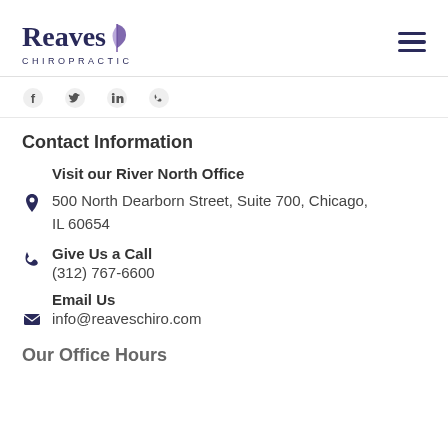[Figure (logo): Reaves Chiropractic logo with stylized leaf/spine icon in purple and dark navy wordmark, with CHIROPRACTIC subtitle in spaced caps]
[Figure (other): Hamburger menu icon (three horizontal lines) in dark navy, top right corner]
[Figure (other): Row of four social media icons: Facebook, Twitter, LinkedIn, and another icon]
Contact Information
Visit our River North Office
500 North Dearborn Street, Suite 700, Chicago, IL 60654
Give Us a Call
(312) 767-6600
Email Us
info@reaveschiro.com
Our Office Hours